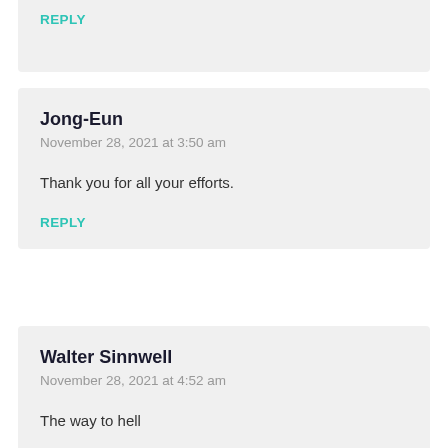REPLY
Jong-Eun
November 28, 2021 at 3:50 am
Thank you for all your efforts.
REPLY
Walter Sinnwell
November 28, 2021 at 4:52 am
The way to hell
Good by world!
The election in Europe shows all too clearly that we live in a age of collectiv mass exclusion.
But that s not the worst, much worse is the